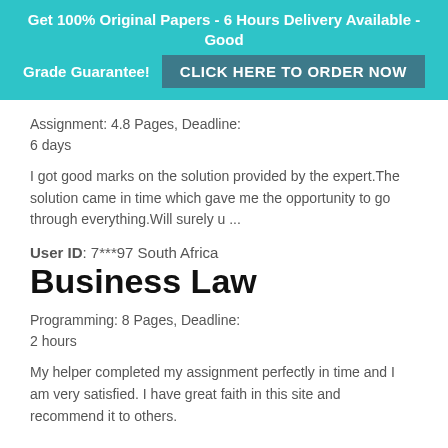Get 100% Original Papers - 6 Hours Delivery Available - Good Grade Guarantee! CLICK HERE TO ORDER NOW
Assignment: 4.8 Pages, Deadline:
6 days
I got good marks on the solution provided by the expert.The solution came in time which gave me the opportunity to go through everything.Will surely u ...
User ID: 7***97 South Africa
Business Law
Programming: 8 Pages, Deadline:
2 hours
My helper completed my assignment perfectly in time and I am very satisfied. I have great faith in this site and recommend it to others.